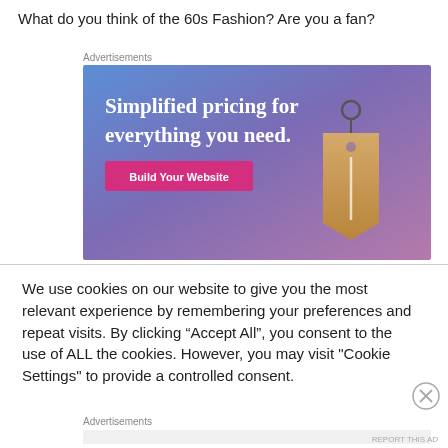What do you think of the 60s Fashion? Are you a fan?
[Figure (illustration): Advertisement banner with gradient blue-purple background. Text reads 'Simplified pricing for everything you need.' with a pink 'Build Your Website' button and a price tag graphic on the right.]
We use cookies on our website to give you the most relevant experience by remembering your preferences and repeat visits. By clicking “Accept All”, you consent to the use of ALL the cookies. However, you may visit "Cookie Settings" to provide a controlled consent.
Advertisements